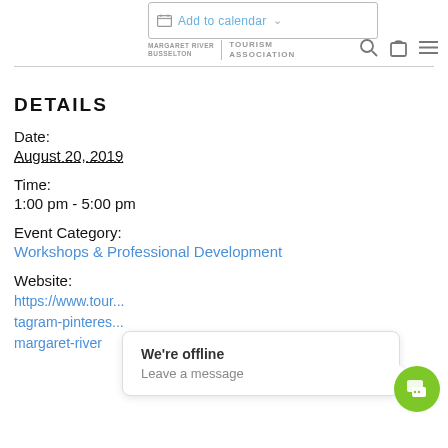Margaret River Busselton | Tourism Association — Add to calendar
DETAILS
Date:
August 20, 2019
Time:
1:00 pm - 5:00 pm
Event Category:
Workshops & Professional Development
Website:
https://www.tour...tagram-pinteres...margaret-river
We're offline
Leave a message